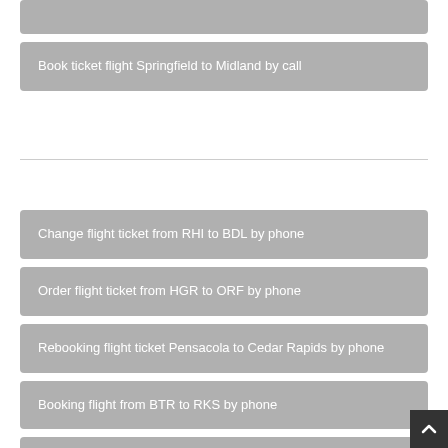Book ticket flight Springfield to Midland by call
Change flight ticket from RHI to BDL by phone
Order flight ticket from HGR to ORF by phone
Rebooking flight ticket Pensacola to Cedar Rapids by phone
Booking flight from BTR to RKS by phone
Cancel flight ticket from ICT to CID by call